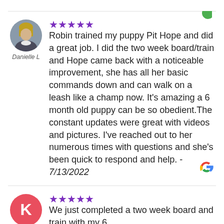[Figure (other): Small green circle/dot partially visible at top right corner]
[Figure (photo): Circular avatar photo of a woman with blonde hair (Danielle L.)]
Danielle L
★★★★★ Robin trained my puppy Pit Hope and did a great job. I did the two week board/train and Hope came back with a noticeable improvement, she has all her basic commands down and can walk on a leash like a champ now. It's amazing a 6 month old puppy can be so obedient.The constant updates were great with videos and pictures. I've reached out to her numerous times with questions and she's been quick to respond and help. - 7/13/2022
[Figure (logo): Google G logo in red, yellow, green, blue at bottom right of first review]
[Figure (other): Pink/red circle avatar with white letter K for second reviewer]
★★★★★ We just completed a two week board and train with my 6